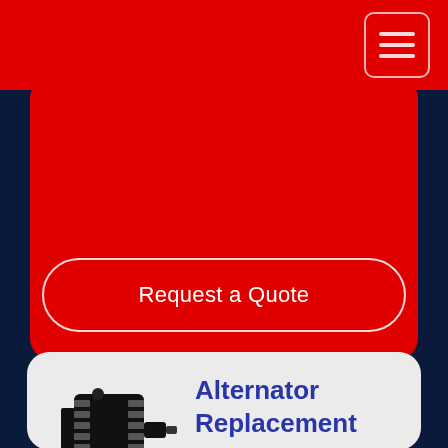[Figure (screenshot): Red top navigation bar with hamburger menu icon (three horizontal lines inside a rounded rectangle border)]
[Figure (other): Red rounded card with a 'Request a Quote' button (white outlined rounded rectangle with white text)]
[Figure (other): Gray rounded card containing alternator icon on left and text on right]
Alternator Replacement
Most people know that it is the battery that allows your vehicle to be started when it is not running. Many people are not aware that once your car is running, it is your alternator that takes care of running all of the systems on your car that require electricity. This includes your headlights, heating/air